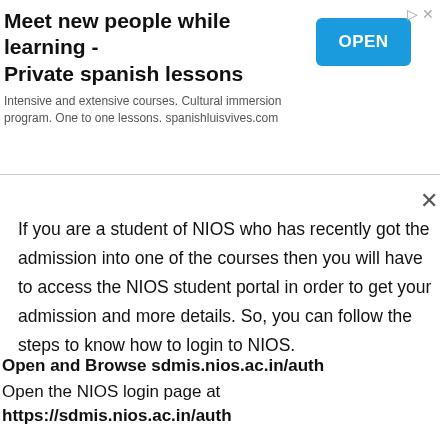[Figure (other): Advertisement banner: 'Meet new people while learning - Private spanish lessons' with an OPEN button in blue, subtitle text about intensive and extensive courses, cultural immersion program, one to one lessons at spanishluisvives.com]
If you are a student of NIOS who has recently got the admission into one of the courses then you will have to access the NIOS student portal in order to get your admission and more details. So, you can follow the steps to know how to login to NIOS.
Open and Browse sdmis.nios.ac.in/auth
Open the NIOS login page at https://sdmis.nios.ac.in/auth